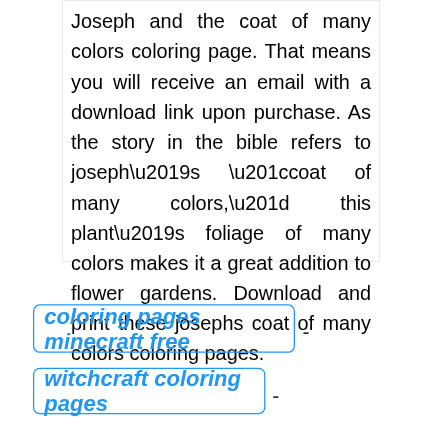Joseph and the coat of many colors coloring page. That means you will receive an email with a download link upon purchase. As the story in the bible refers to joseph’s “coat of many colors,” this plant’s foliage of many colors makes it a great addition to flower gardens. Download and print these josephs coat of many colors coloring pages.
coloring pages minecraft free -
witchcraft coloring pages -